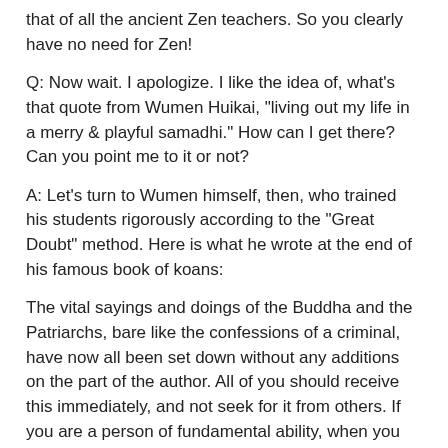that of all the ancient Zen teachers. So you clearly have no need for Zen!
Q: Now wait. I apologize. I like the idea of, what's that quote from Wumen Huikai, "living out my life in a merry & playful samadhi." How can I get there? Can you point me to it or not?
A: Let's turn to Wumen himself, then, who trained his students rigorously according to the "Great Doubt" method. Here is what he wrote at the end of his famous book of koans:
The vital sayings and doings of the Buddha and the Patriarchs, bare like the confessions of a criminal, have now all been set down without any additions on the part of the author. All of you should receive this immediately, and not seek for it from others. If you are a person of fundamental ability, when you hear a small part you will know the essence and it is not necessary for you to enter the Gate, or go up the stairs -- but, squaring your elbows, you may pass the barrier without asking the permission of the barrier keeper: